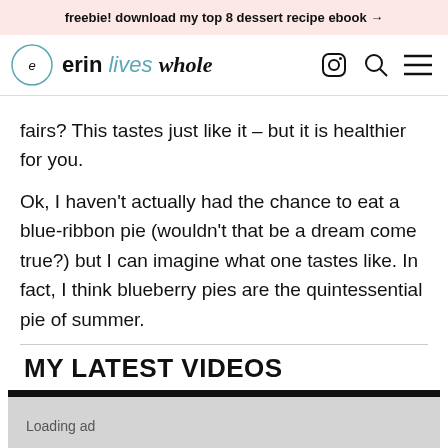freebie! download my top 8 dessert recipe ebook →
[Figure (logo): Erin Lives Whole logo with circular icon and stylized text]
fairs? This tastes just like it – but it is healthier for you.
Ok, I haven't actually had the chance to eat a blue-ribbon pie (wouldn't that be a dream come true?) but I can imagine what one tastes like. In fact, I think blueberry pies are the quintessential pie of summer.
MY LATEST VIDEOS
[Figure (screenshot): Video player placeholder showing a dark bar on top and 'Loading ad' text on grey background]